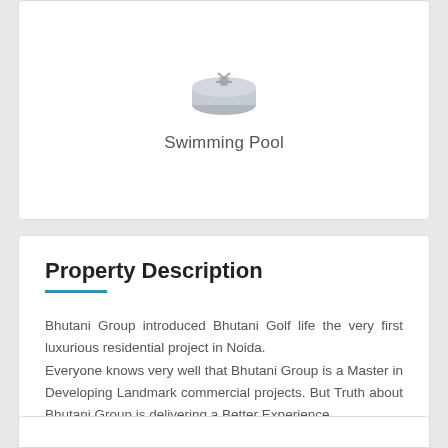[Figure (illustration): Swimming pool icon - grey circular disk with swimmer figure]
Swimming Pool
Property Description
Bhutani Group introduced Bhutani Golf life the very first luxurious residential project in Noida. Everyone knows very well that Bhutani Group is a Master in Developing Landmark commercial projects. But Truth about Bhutani Group is delivering a Better Experience.
Read More...